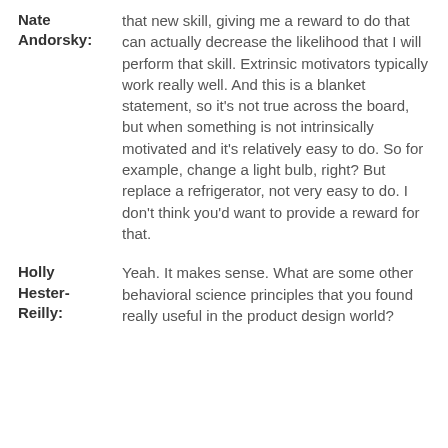Nate Andorsky: that new skill, giving me a reward to do that can actually decrease the likelihood that I will perform that skill. Extrinsic motivators typically work really well. And this is a blanket statement, so it's not true across the board, but when something is not intrinsically motivated and it's relatively easy to do. So for example, change a light bulb, right? But replace a refrigerator, not very easy to do. I don't think you'd want to provide a reward for that.
Holly Hester-Reilly: Yeah. It makes sense. What are some other behavioral science principles that you found really useful in the product design world?